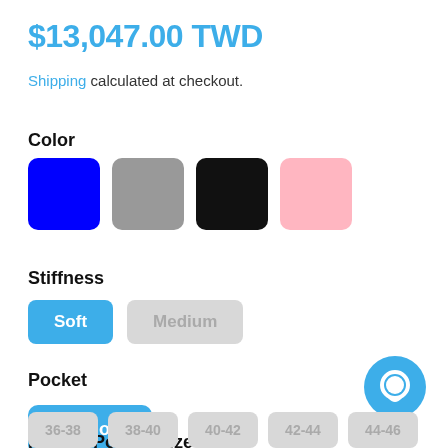$13,047.00 TWD
Shipping calculated at checkout.
Color
[Figure (other): Four color swatches: blue, gray, black, pink]
Stiffness
Soft | Medium (buttons)
Pocket
Pathos (button)
Pathos Pocket Size
36-38  38-40  40-42  42-44  44-46 (partially visible size buttons)